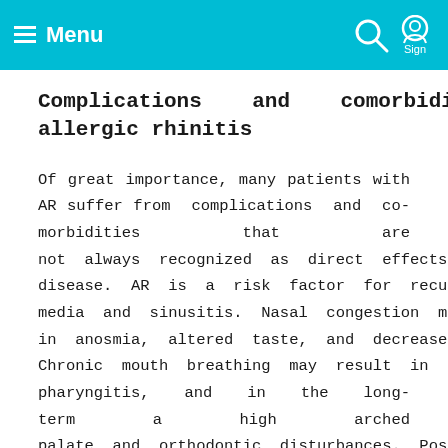Menu | Sign In
Complications and comorbidities of allergic rhinitis
Of great importance, many patients with AR suffer from complications and co-morbidities that are not always recognized as direct effects of nasal disease. AR is a risk factor for recurrent otitis media and sinusitis. Nasal congestion may result in anosmia, altered taste, and decreased appetite. Chronic mouth breathing may result in halitosis, pharyngitis, and in the long-term a high arched palate and orthodontic disturbances. Post-nasal drip is the most common cause of chronic cough, but patients with AR who cough should also be